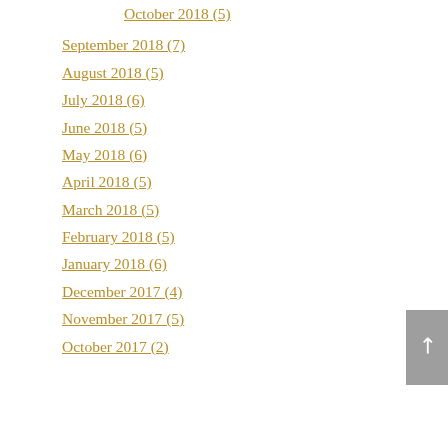October 2018 (5)
September 2018 (7)
August 2018 (5)
July 2018 (6)
June 2018 (5)
May 2018 (6)
April 2018 (5)
March 2018 (5)
February 2018 (5)
January 2018 (6)
December 2017 (4)
November 2017 (5)
October 2017 (2)